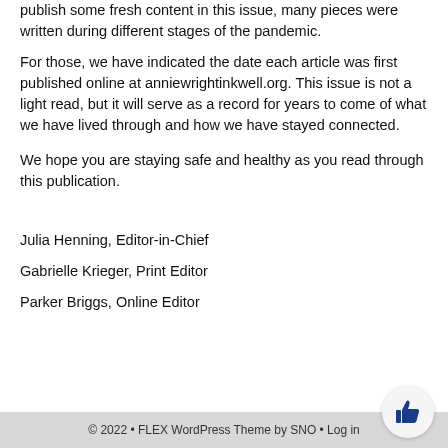publish some fresh content in this issue, many pieces were written during different stages of the pandemic.
For those, we have indicated the date each article was first published online at anniewrightinkwell.org. This issue is not a light read, but it will serve as a record for years to come of what we have lived through and how we have stayed connected.
We hope you are staying safe and healthy as you read through this publication.
Julia Henning, Editor-in-Chief
Gabrielle Krieger, Print Editor
Parker Briggs, Online Editor
© 2022 • FLEX WordPress Theme by SNO • Log in